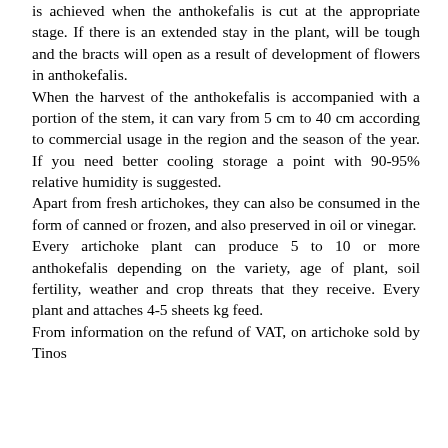is achieved when the anthokefalis is cut at the appropriate stage. If there is an extended stay in the plant, will be tough and the bracts will open as a result of development of flowers in anthokefalis. When the harvest of the anthokefalis is accompanied with a portion of the stem, it can vary from 5 cm to 40 cm according to commercial usage in the region and the season of the year. If you need better cooling storage a point with 90-95% relative humidity is suggested. Apart from fresh artichokes, they can also be consumed in the form of canned or frozen, and also preserved in oil or vinegar. Every artichoke plant can produce 5 to 10 or more anthokefalis depending on the variety, age of plant, soil fertility, weather and crop threats that they receive. Every plant and attaches 4-5 sheets kg feed. From information on the refund of VAT, on artichoke sold by Tinos